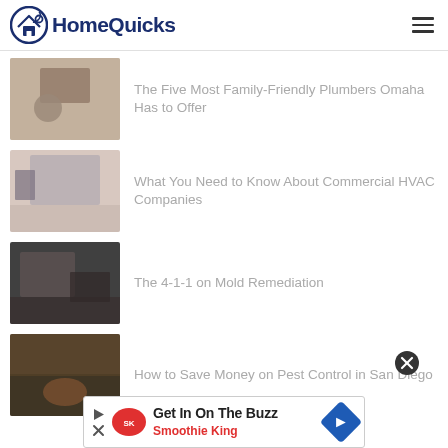HomeQuicks
The Five Most Family-Friendly Plumbers Omaha Has to Offer
What You Need to Know About Commercial HVAC Companies
The 4-1-1 on Mold Remediation
How to Save Money on Pest Control in San Diego
[Figure (screenshot): Advertisement banner: Get In On The Buzz - Smoothie King]